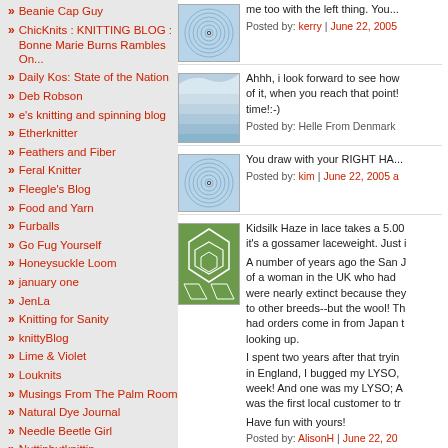Beanie Cap Guy
ChicKnits : KNITTING BLOG : Bonne Marie Burns Rambles On...
Daily Kos: State of the Nation
Deb Robson
e's knitting and spinning blog
Etherknitter
Feathers and Fiber
Feral Knitter
Fleegle's Blog
Food and Yarn
Furballs
Go Fug Yourself
Honeysuckle Loom
january one
JenLa
Knitting for Sanity
knittyBlog
Lime & Violet
Louknits
Musings From The Palm Room
Natural Dye Journal
Needle Beetle Girl
Nuttinbutknittin
Pink Tea
rosemary-go-round
me too with the left thing. You...
Posted by: kerry | June 22, 2005
[Figure (photo): Blue spiral/circular pattern thumbnail image]
Ahhh, i look forward to see how of it, when you reach that point! time!:-)
Posted by: Helle From Denmark
[Figure (photo): Blue layered wave pattern thumbnail image]
You draw with your RIGHT HA...
Posted by: kim | June 22, 2005 a
[Figure (photo): Blue spiral/circular pattern thumbnail image]
Kidsilk Haze in lace takes a 5.00 it's a gossamer laceweight. Just i
A number of years ago the San J of a woman in the UK who had were nearly extinct because they to other breeds--but the wool! Th had orders come in from Japan t looking up.
I spent two years after that tryin in England, I bugged my LYSO, week! And one was my LYSO; A was the first local customer to tr
Have fun with yours!
Posted by: AlisonH | June 22, 20
[Figure (photo): Green geometric pattern thumbnail image]